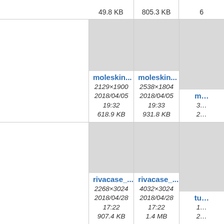49.8 KB
805.3 KB
6…
[Figure (photo): Thumbnail placeholder gray box for moleskin image]
moleskin...
2129×1900
2018/04/05
19:32
618.9 KB
[Figure (photo): Thumbnail placeholder gray box for moleskin image]
moleskin...
2538×1804
2018/04/05
19:33
931.8 KB
[Figure (photo): Thumbnail placeholder gray box, partially visible]
m…
3…
2…
[Figure (photo): Thumbnail placeholder gray box for rivacase image]
rivacase_...
2268×3024
2018/04/28
17:22
907.4 KB
[Figure (photo): Thumbnail placeholder gray box for rivacase image]
rivacase_...
4032×3024
2018/04/28
17:22
1.4 MB
[Figure (photo): Thumbnail placeholder gray box, partially visible]
tu…
1…
2…